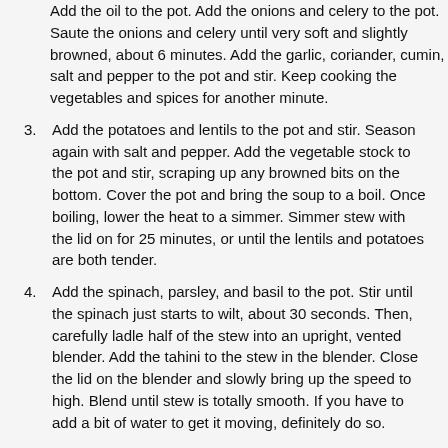Add the oil to the pot. Add the onions and celery to the pot. Saute the onions and celery until very soft and slightly browned, about 6 minutes. Add the garlic, coriander, cumin, salt and pepper to the pot and stir. Keep cooking the vegetables and spices for another minute.
3. Add the potatoes and lentils to the pot and stir. Season again with salt and pepper. Add the vegetable stock to the pot and stir, scraping up any browned bits on the bottom. Cover the pot and bring the soup to a boil. Once boiling, lower the heat to a simmer. Simmer stew with the lid on for 25 minutes, or until the lentils and potatoes are both tender.
4. Add the spinach, parsley, and basil to the pot. Stir until the spinach just starts to wilt, about 30 seconds. Then, carefully ladle half of the stew into an upright, vented blender. Add the tahini to the stew in the blender. Close the lid on the blender and slowly bring up the speed to high. Blend until stew is totally smooth. If you have to add a bit of water to get it moving, definitely do so.
5. Scrape the blended stew back into the pot and bring the now unified stew up to a boil. Squeeze in the lemon juice, add the